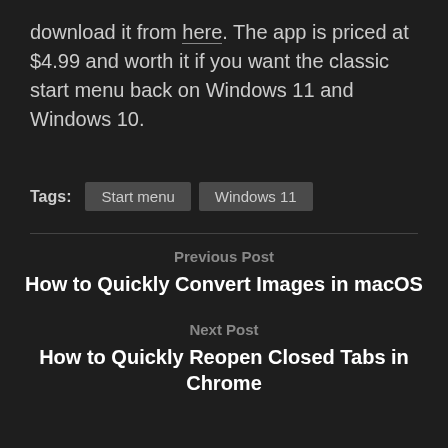download it from here. The app is priced at $4.99 and worth it if you want the classic start menu back on Windows 11 and Windows 10.
Tags: Start menu  Windows 11
Previous Post
How to Quickly Convert Images in macOS
Next Post
How to Quickly Reopen Closed Tabs in Chrome